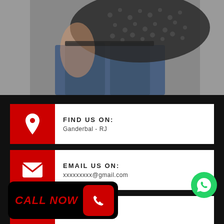[Figure (photo): Cropped photo of a person wearing a patterned top and denim jeans, photographed from torso area against a grey background]
FIND US ON:
Ganderbal - RJ
EMAIL US ON:
xxxxxxxxx@gmail.com
CALL US ON:
+91 0000000000
[Figure (infographic): CALL NOW button overlay with red phone icon on black rounded rectangle background]
[Figure (logo): WhatsApp green circle icon]